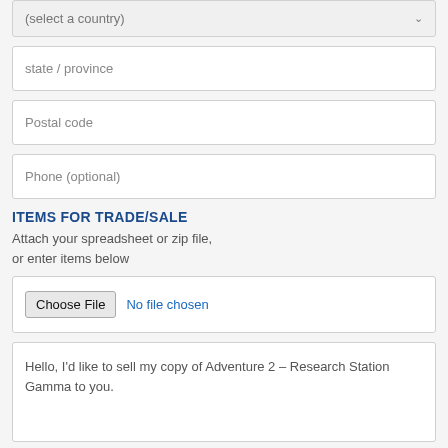(select a country)
state / province
Postal code
Phone (optional)
ITEMS FOR TRADE/SALE
Attach your spreadsheet or zip file, or enter items below
Choose File  No file chosen
Hello, I'd like to sell my copy of Adventure 2 – Research Station Gamma to you.